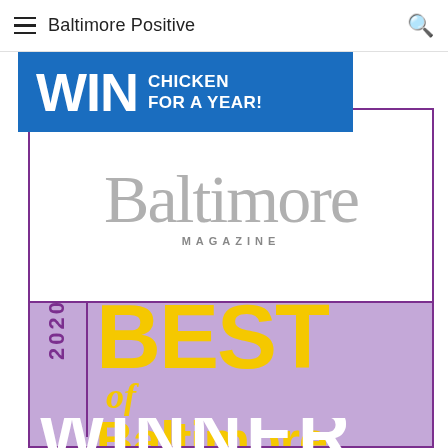Baltimore Positive
[Figure (infographic): WIN CHICKEN FOR A YEAR! promotional banner in blue with white bold text]
[Figure (logo): Baltimore Magazine logo in gray serif font with 'MAGAZINE' subtitle]
[Figure (infographic): 2020 Best of Baltimore Winner award badge on purple/lavender background with gold text]